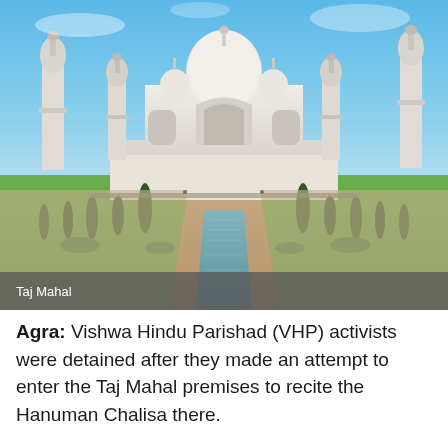[Figure (photo): Photograph of the Taj Mahal from the front, showing the central dome and four minarets, with the long reflecting pool and cypress trees in the foreground, set against a blue sky.]
Taj Mahal
Agra: Vishwa Hindu Parishad (VHP) activists were detained after they made an attempt to enter the Taj Mahal premises to recite the Hanuman Chalisa there.